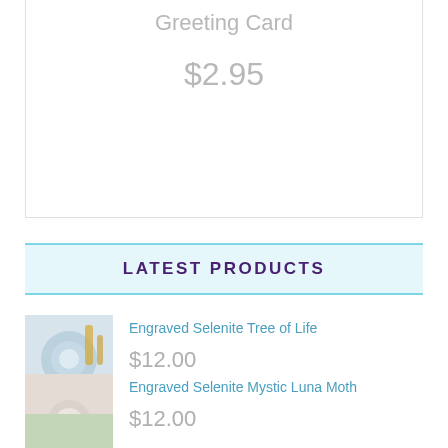Greeting Card
$2.95
LATEST PRODUCTS
Engraved Selenite Tree of Life
$12.00
[Figure (photo): Product thumbnail for Engraved Selenite Tree of Life]
Engraved Selenite Mystic Luna Moth
$12.00
[Figure (photo): Product thumbnail for Engraved Selenite Mystic Luna Moth]
[Figure (photo): Partial product thumbnail at bottom of page]